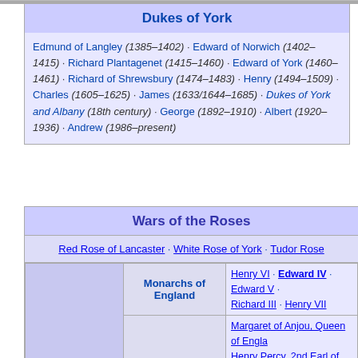| Dukes of York |
| --- |
| Edmund of Langley (1385–1402) · Edward of Norwich (1402–1415) · Richard Plantagenet (1415–1460) · Edward of York (1460–1461) · Richard of Shrewsbury (1474–1483) · Henry (1494–1509) · Charles (1605–1625) · James (1633/1644–1685) · Dukes of York and Albany (18th century) · George (1892–1910) · Albert (1920–1936) · Andrew (1986–present) |
| Wars of the Roses |
| --- |
| Red Rose of Lancaster · White Rose of York · Tudor Rose |
| Key figures | Monarchs of England | Henry VI · Edward IV · Edward V · Richard III · Henry VII |
| Key figures | Lancastrian | Margaret of Anjou, Queen of England · Henry Percy, 2nd Earl of Northumberland · Henry Percy, 3rd Earl of Northumberland · Richard Neville, 16th Earl of Warwick · Edmund Beaufort, 2nd Duke of Somerset · Henry Beaufort, 3rd Duke of Somerset · Edmund Beaufort, 4th Duke of Somerset · George Plantagenet, 1st Duke of Clarence |
| Key figures |  | Richard Plantagenet, 3rd Duke of York · Richard Neville, 16th Earl of Warwick |